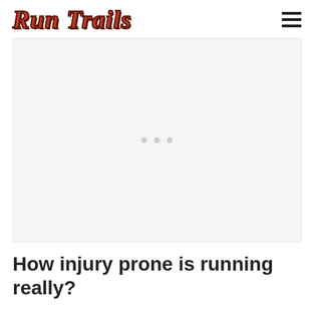Run Trails
[Figure (other): Light gray placeholder image area with three small dots centered, representing an unloaded or placeholder image on the Run Trails website]
How injury prone is running really?